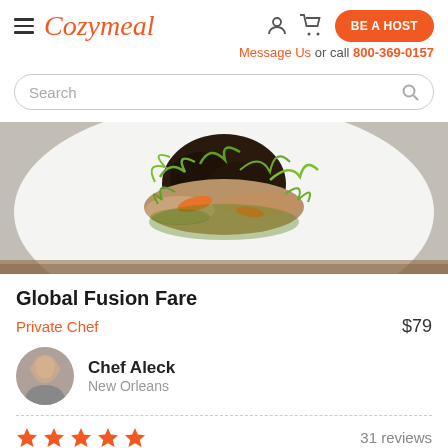Cozymeal — BE A HOST — Message Us or call 800-369-0157
Search
[Figure (photo): Close-up photo of a gourmet dish on a white plate: braised greens and grain salad with carrots and microgreens, served on a wooden surface]
Global Fusion Fare
Private Chef   $79
Chef Aleck
New Orleans
★★★★★   31 reviews